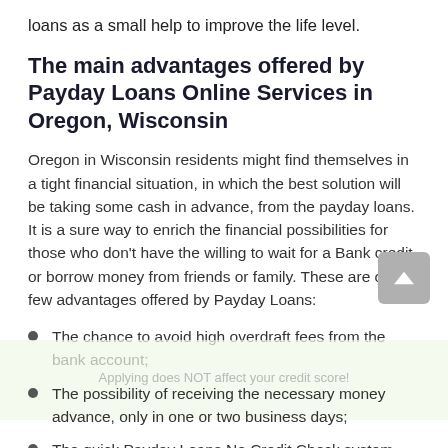loans as a small help to improve the life level.
The main advantages offered by Payday Loans Online Services in Oregon, Wisconsin
Oregon in Wisconsin residents might find themselves in a tight financial situation, in which the best solution will be taking some cash in advance, from the payday loans. It is a sure way to enrich the financial possibilities for those who don't have the willing to wait for a Bank credit or borrow money from friends or family. These are only few advantages offered by Payday Loans:
The chance to avoid high overdraft fees from the bank account;
The possibility of receiving the necessary money advance, only in one or two business days;
The quick Payday Loans No Credit Check system exempts from addition time spending;